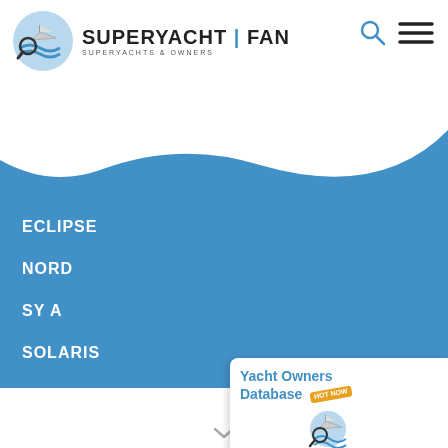[Figure (screenshot): SuperYachtFan website navigation menu screenshot showing logo, search icon, hamburger menu, navigation items (ECLIPSE, NORD, SY A, SOLARIS), Yacht Owners Database card, language selector (EN), and Yacht Industry section]
SUPERYACHT | FAN
SUPERYACHTS & OWNERS
ECLIPSE
NORD
SY A
SOLARIS
Yacht Owners Database
EN
Yacht Industry